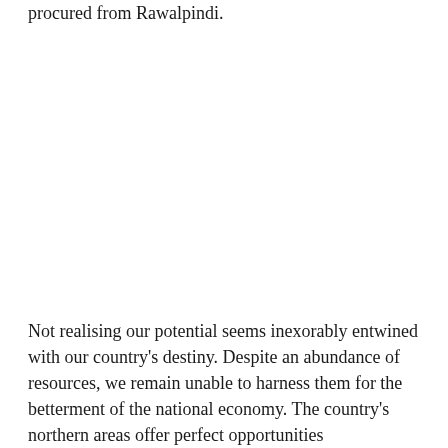procured from Rawalpindi.
Not realising our potential seems inexorably entwined with our country's destiny. Despite an abundance of resources, we remain unable to harness them for the betterment of the national economy. The country's northern areas offer perfect opportunities